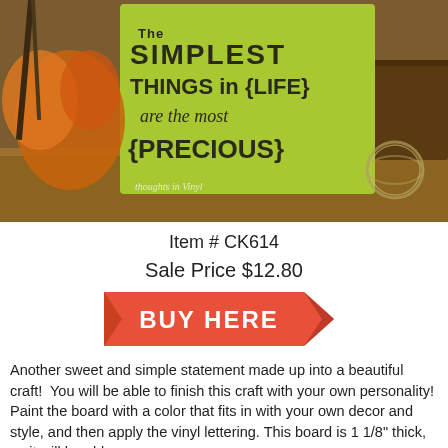[Figure (photo): A green wooden sign reading 'The Simplest Things in {Life} are the most {Precious}' displayed on a shelf with autumn decorations including orange flowers and wicker balls. Watermark reads 'thoughts in Vinyl'.]
Item # CK614
Sale Price $12.80
[Figure (other): A red/coral arrow-shaped 'BUY HERE' button graphic with white bold text.]
Another sweet and simple statement made up into a beautiful craft!  You will be able to finish this craft with your own personality! Paint the board with a color that fits in with your own decor and style, and then apply the vinyl lettering. This board is 1 1/8" thick, so it will be able